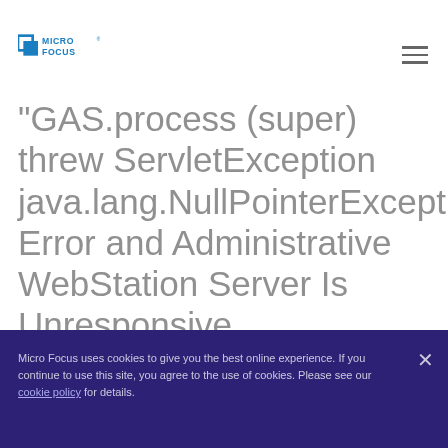Micro Focus [logo] [hamburger menu]
"GAS.process (super) threw ServletException java.lang.NullPointerException" Error and Administrative WebStation Server Is Unresponsive
Micro Focus uses cookies to give you the best online experience. If you continue to use this site, you agree to the use of cookies. Please see our cookie policy for details.